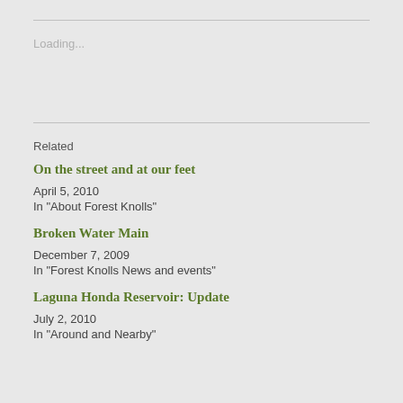Loading...
Related
On the street and at our feet
April 5, 2010
In "About Forest Knolls"
Broken Water Main
December 7, 2009
In "Forest Knolls News and events"
Laguna Honda Reservoir: Update
July 2, 2010
In "Around and Nearby"